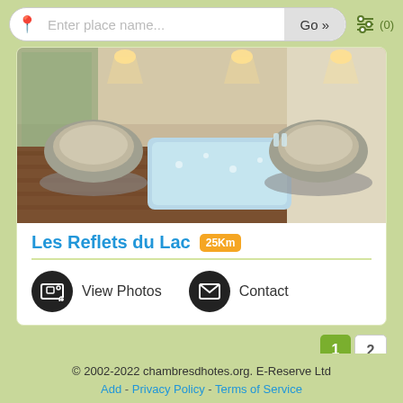Enter place name... Go »  (0)
[Figure (photo): Indoor spa/wellness room with two round papasan chairs, a jacuzzi/hot tub, wooden floor, and wall spotlights]
Les Reflets du Lac 25Km
View Photos   Contact
1 2
© 2002-2022 chambresdhotes.org. E-Reserve Ltd
Add - Privacy Policy - Terms of Service